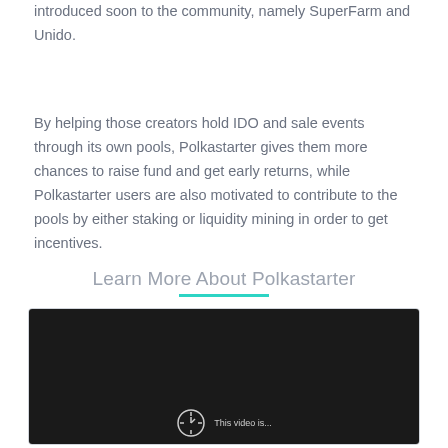introduced soon to the community, namely SuperFarm and Unido.
By helping those creators hold IDO and sale events through its own pools, Polkastarter gives them more chances to raise fund and get early returns, while Polkastarter users are also motivated to contribute to the pools by either staking or liquidity mining in order to get incentives.
Learn More About Polkastarter
[Figure (other): Dark background video embed placeholder with a circular clock/play icon and partial subtitle text 'This video is...' at the bottom]